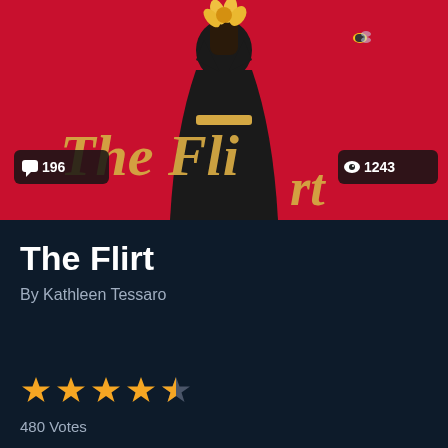[Figure (photo): Book cover of 'The Flirt' by Kathleen Tessaro. Red background with a woman in a black dress silhouette, gold script title text, yellow flower decoration, small bee. Overlaid badges: comment icon with 196, eye icon with 1243.]
The Flirt
By Kathleen Tessaro
[Figure (infographic): Star rating: 4.5 out of 5 stars (4 full stars and 1 half star), gold colored. 480 Votes below.]
480 Votes